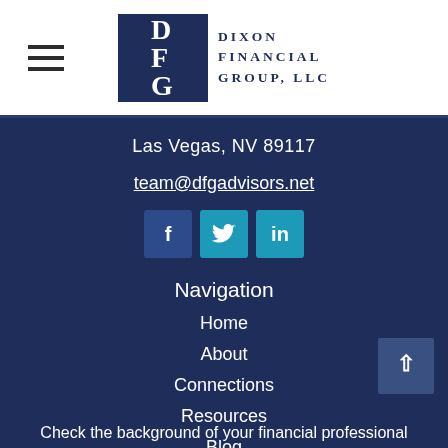[Figure (logo): Dixon Financial Group LLC logo with DFG monogram in dark blue square and company name to the right]
Las Vegas, NV 89117
team@dfgadvisors.net
[Figure (infographic): Social media icons: Facebook, Twitter, LinkedIn]
Navigation
Home
About
Connections
Resources
Blog
Contact
Check the background of your financial professional